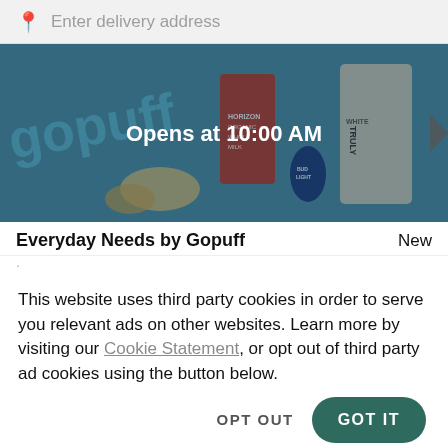Enter delivery address
[Figure (photo): Gopuff grocery store banner image showing various grocery products including Horizon milk, Bud Light, Truly hard seltzer, and other items on a teal background. Overlaid text reads 'Opens at 10:00 AM']
Everyday Needs by Gopuff
New
·
This website uses third party cookies in order to serve you relevant ads on other websites. Learn more by visiting our Cookie Statement, or opt out of third party ad cookies using the button below.
OPT OUT
GOT IT